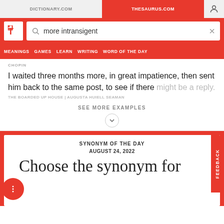DICTIONARY.COM | THESAURUS.COM
more intransigent
MEANINGS  GAMES  LEARN  WRITING  WORD OF THE DAY
CHOPIN
I waited three months more, in great impatience, then sent him back to the same post, to see if there might be a reply.
THE BOARDED UP HOUSE | AUGUSTA HUIELL SEAMAN
SEE MORE EXAMPLES
SYNONYM OF THE DAY
AUGUST 24, 2022
Choose the synonym for